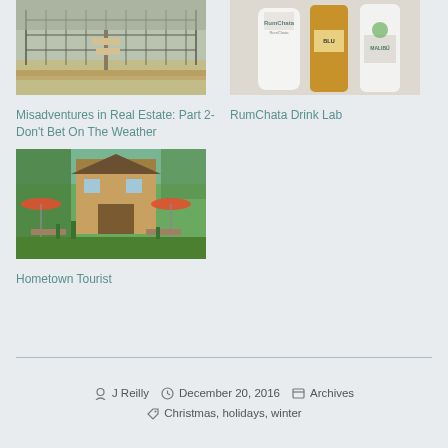[Figure (photo): Outdoor fenced area with wooden signpost and bare trees in background]
Misadventures in Real Estate: Part 2-Don't Bet On The Weather
[Figure (photo): Three bottles of alcohol: RumChata, a gold bottle labeled BLU, and Malibu]
RumChata Drink Lab
[Figure (photo): Rustic barn building with red umbrellas, picnic tables, and green garden area]
Hometown Tourist
By J Reilly   December 20, 2016   Archives   Christmas, holidays, winter